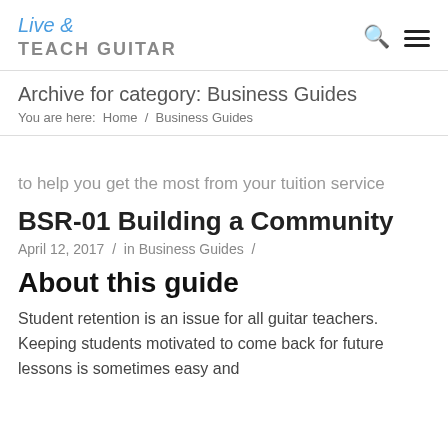Live & Teach Guitar
Archive for category: Business Guides
You are here: Home / Business Guides
to help you get the most from your tuition service
BSR-01 Building a Community
April 12, 2017 / in Business Guides /
About this guide
Student retention is an issue for all guitar teachers. Keeping students motivated to come back for future lessons is sometimes easy and